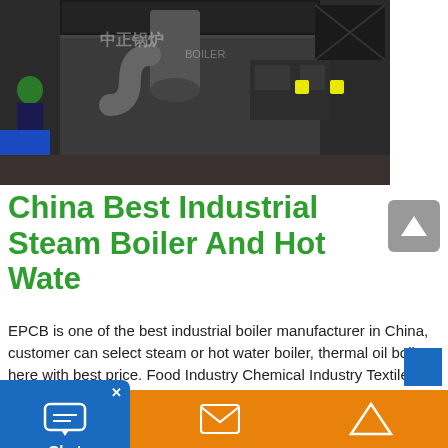[Figure (photo): Industrial steam boiler equipment photographed outdoors, showing large dark metal boiler unit with pipes and ductwork, with a worker visible on the left side. EPCB Boiler logo/watermark visible.]
China Best Industrial Steam Boiler And Hot Wate
EPCB is one of the best industrial boiler manufacturer in China, customer can select steam or hot water boiler, thermal oil boiler here with best price. Food Industry Chemical Industry Textile Industry Plastics Industry Fishmeal Industry Paper Industry Rubber Industry Cement Manufacturing. Message* Start Typing. Name . Email*